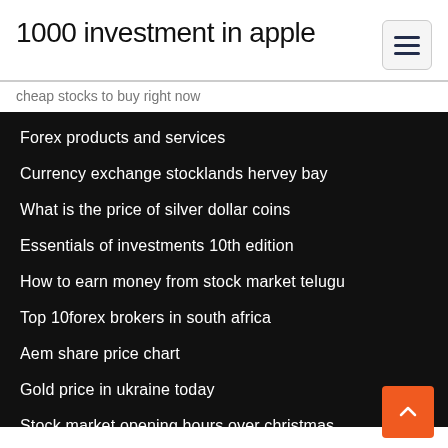1000 investment in apple
cheap stocks to buy right now
Forex products and services
Currency exchange stocklands hervey bay
What is the price of silver dollar coins
Essentials of investments 10th edition
How to earn money from stock market telugu
Top 10forex brokers in south africa
Aem share price chart
Gold price in ukraine today
Stock market opening hours over christmas
What is the price of dowdupont stock